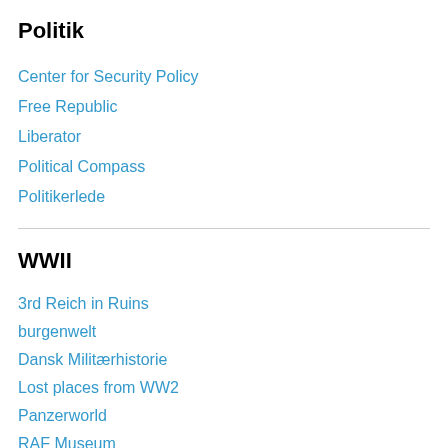Politik
Center for Security Policy
Free Republic
Liberator
Political Compass
Politikerlede
WWII
3rd Reich in Ruins
burgenwelt
Dansk Militærhistorie
Lost places from WW2
Panzerworld
RAF Museum
Røda Stjærnan
wehrmacht lexikon
wwii museums